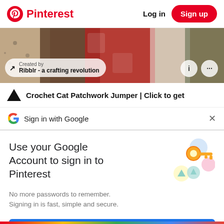Pinterest  Log in  Sign up
[Figure (screenshot): Pinterest pin image showing crochet/knit items in red, brown and cream colors]
Created by
Ribblr - a crafting revolution
Crochet Cat Patchwork Jumper | Click to get
Sign in with Google
Use your Google Account to sign in to Pinterest
No more passwords to remember.
Signing in is fast, simple and secure.
[Figure (illustration): Google key/lock illustration with colorful circles]
Continue